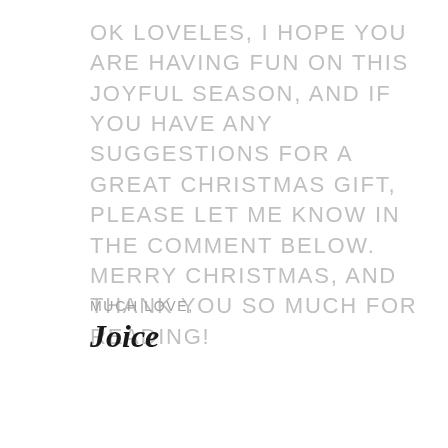OK LOVELES, I HOPE YOU ARE HAVING FUN ON THIS JOYFUL SEASON, AND IF YOU HAVE ANY SUGGESTIONS FOR A GREAT CHRISTMAS GIFT, PLEASE LET ME KNOW IN THE COMMENT BELOW. MERRY CHRISTMAS, AND THANK YOU SO MUCH FOR READING!
MUCH LOVE,
Joice